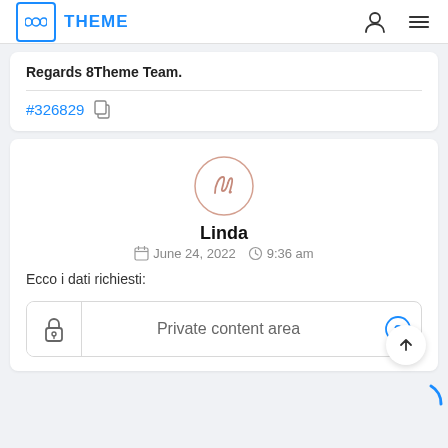THEME
Regards 8Theme Team.
#326829
Linda
June 24, 2022   9:36 am
Ecco i dati richiesti:
Private content area